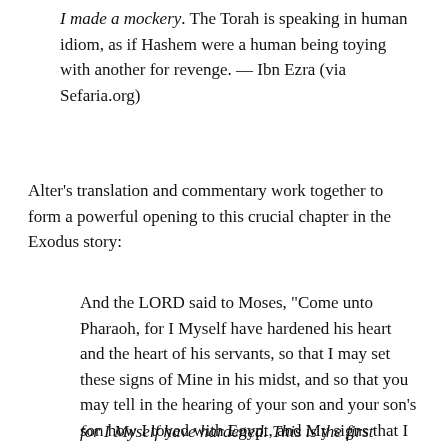I made a mockery. The Torah is speaking in human idiom, as if Hashem were a human being toying with another for revenge. — Ibn Ezra (via Sefaria.org)
Alter's translation and commentary work together to form a powerful opening to this crucial chapter in the Exodus story:
And the LORD said to Moses, “Come unto Pharaoh, for I Myself have hardened his heart and the heart of his servants, so that I may set these signs of Mine in his midst, and so that you may tell in the hearing of your son and your son’s son how I toyed with Egypt, and My signs that I set upon them, and you shall know that I am the LORD.”
for I Myself have hardened. This is the first